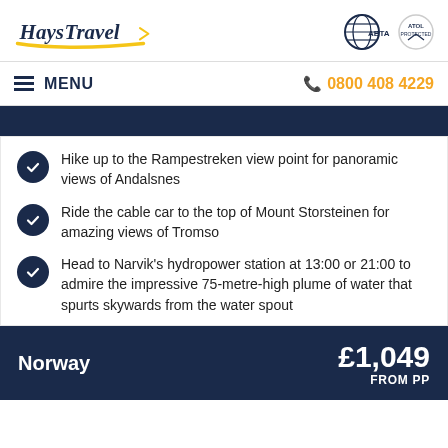Hays Travel | ABTA logo
MENU | 0800 408 4229
Hike up to the Rampestreken view point for panoramic views of Andalsnes
Ride the cable car to the top of Mount Storsteinen for amazing views of Tromso
Head to Narvik's hydropower station at 13:00 or 21:00 to admire the impressive 75-metre-high plume of water that spurts skywards from the water spout
Norway £1,049 FROM PP